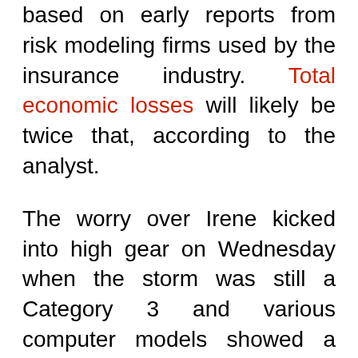based on early reports from risk modeling firms used by the insurance industry. Total economic losses will likely be twice that, according to the analyst.
The worry over Irene kicked into high gear on Wednesday when the storm was still a Category 3 and various computer models showed a destructive patch up the Eastern seaboard, ultimately hitting New York city and Long Island. New York Mayor Michael Bloomberg ordered the first ever mandatory evacuation of low-lying areas and shut down the subway system on Saturday before the storm.
Morgan Stanley's favorite insurance stocks are RenaissanceRe, Travelers, ACE Limited,